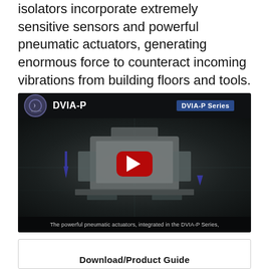isolators incorporate extremely sensitive sensors and powerful pneumatic actuators, generating enormous force to counteract incoming vibrations from building floors and tools.
[Figure (screenshot): Video thumbnail showing DVIA-P Series equipment with YouTube play button overlay. The video title shows 'DVIA-P' with the Quel-rono logo. A dark scene depicts the DVIA-P vibration isolation system with pneumatic actuators. Bottom caption reads: 'The powerful pneumatic actuators, integrated in the DVIA-P Series,'. Top right badge shows 'DVIA-P Series'.]
Download/Product Guide